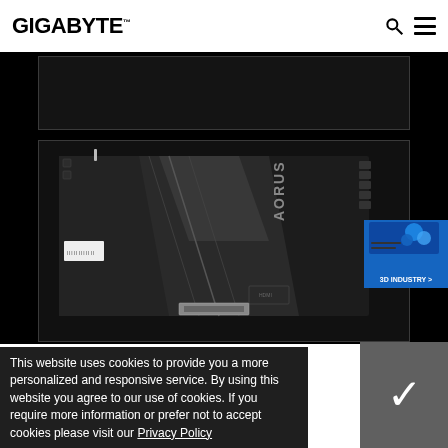GIGABYTE
[Figure (photo): Dark background area with top product image placeholder, outlined box]
[Figure (photo): AORUS graphics card / motherboard product photo showing back of PCB with heatsink, connectors, HDMI port, power connectors, and AORUS branding text on dark background]
[Figure (photo): 3D Industry advertisement badge in blue with circuit board imagery]
This website uses cookies to provide you a more personalized and responsive service. By using this website you agree to our use of cookies. If you require more information or prefer not to accept cookies please visit our Privacy Policy